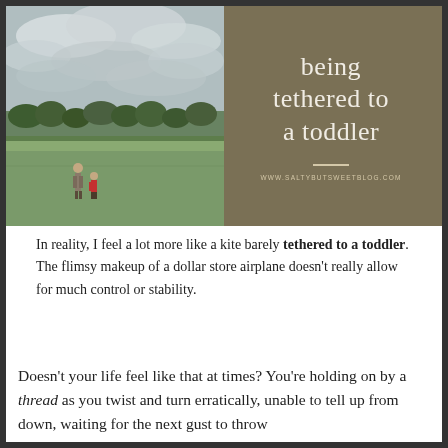[Figure (photo): Outdoor photo of two people (an adult and a small child in red) standing on a green grass field with trees in the background and a cloudy sky above.]
being tethered to a toddler
www.saltybutsweetblog.com
In reality, I feel a lot more like a kite barely tethered to a toddler. The flimsy makeup of a dollar store airplane doesn't really allow for much control or stability.
Doesn't your life feel like that at times? You're holding on by a thread as you twist and turn erratically, unable to tell up from down, waiting for the next gust to throw